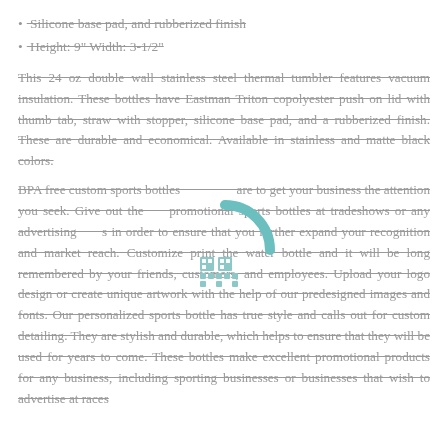Silicone base pad, and rubberized finish
Height: 9" Width: 3-1/2"
This 24 oz double wall stainless steel thermal tumbler features vacuum insulation. These bottles have Eastman Triton copolyester push on lid with thumb tab, straw with stopper, silicone base pad, and a rubberized finish. These are durable and economical. Available in stainless and matte black colors.
BPA free custom sports bottles are to get your business the attention you seek. Give out these promotional sports bottles at tradeshows or any advertising events in order to ensure that you further expand your recognition and market reach. Customize print the water bottle and it will be long remembered by your friends, customers, and employees. Upload your logo design or create unique artwork with the help of our predesigned images and fonts. Our personalized sports bottle has true style and calls out for custom detailing. They are stylish and durable, which helps to ensure that they will be used for years to come. These bottles make excellent promotional products for any business, including sporting businesses or businesses that wish to advertise at races
[Figure (other): A loading spinner (arc) with a QR code or grid icon below it, overlaid on the text content]